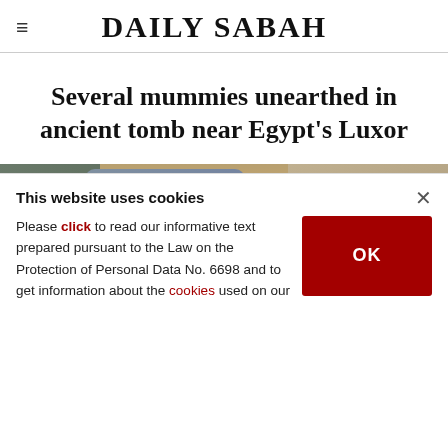DAILY SABAH
Several mummies unearthed in ancient tomb near Egypt's Luxor
[Figure (photo): Workers or archaeologists at an excavation site, bending over what appears to be an archaeological dig, with sandy ground visible in the background.]
This website uses cookies
Please click to read our informative text prepared pursuant to the Law on the Protection of Personal Data No. 6698 and to get information about the cookies used on our